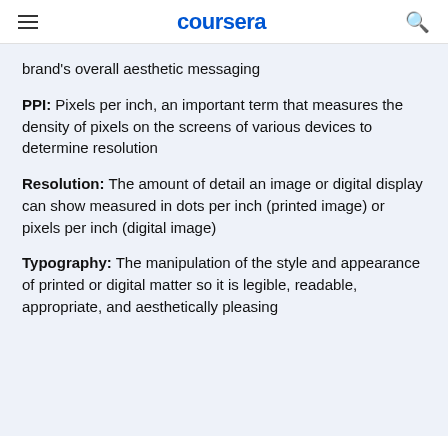coursera
brand's overall aesthetic messaging
PPI: Pixels per inch, an important term that measures the density of pixels on the screens of various devices to determine resolution
Resolution: The amount of detail an image or digital display can show measured in dots per inch (printed image) or pixels per inch (digital image)
Typography: The manipulation of the style and appearance of printed or digital matter so it is legible, readable, appropriate, and aesthetically pleasing